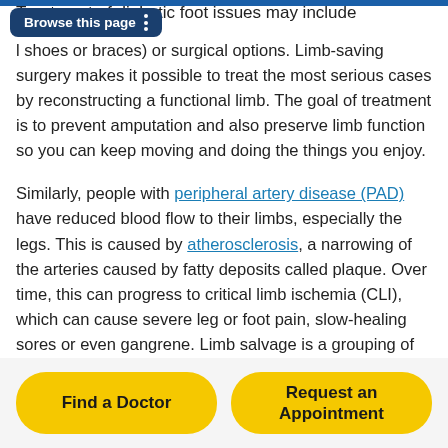Treatment of diabetic foot issues may include
l shoes or braces) or surgical options. Limb-saving surgery makes it possible to treat the most serious cases by reconstructing a functional limb. The goal of treatment is to prevent amputation and also preserve limb function so you can keep moving and doing the things you enjoy.
Similarly, people with peripheral artery disease (PAD) have reduced blood flow to their limbs, especially the legs. This is caused by atherosclerosis, a narrowing of the arteries caused by fatty deposits called plaque. Over time, this can progress to critical limb ischemia (CLI), which can cause severe leg or foot pain, slow-healing sores or even gangrene. Limb salvage is a grouping of treatments to avoid
Find a Doctor
Request an Appointment